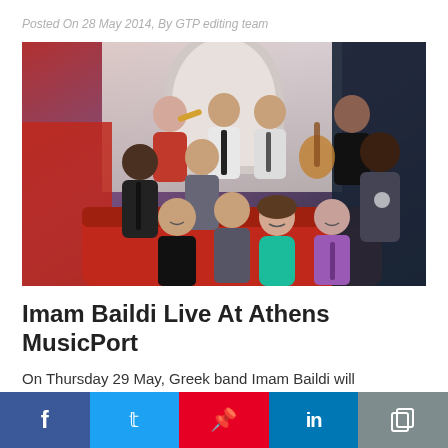Posted On 28 May 2014, By GTP editing team
[Figure (photo): Group photo of the Greek band Imam Baildi, approximately 9-10 members posing together in a studio or venue setting with red couch and arched background. Members in various outfits including one playing trumpet.]
Imam Baildi Live At Athens MusicPort
On Thursday 29 May, Greek band Imam Baildi will